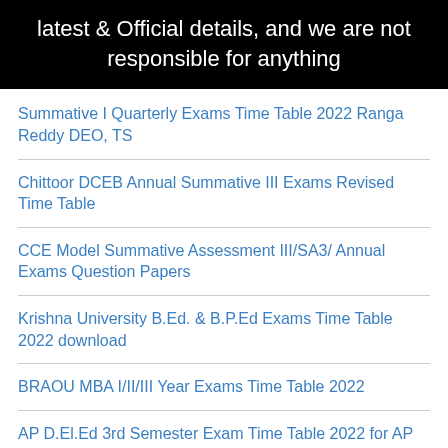latest & Official details, and we are not responsible for anything
Summative I Quarterly Exams Time Table 2022 Ranga Reddy DEO, TS
Chittoor DCEB Annual Summative III Exams Revised Time Table
CCE Model Summative Assessment III/SA3/ Annual Exams Question Papers
Krishna University B.Ed. & B.P.Ed Exams Time Table 2022 download
BRAOU MBA I/II/III Year Exams Time Table 2022
AP D.El.Ed 3rd Semester Exam Time Table 2022 for AP D.Ed III Semester Exams